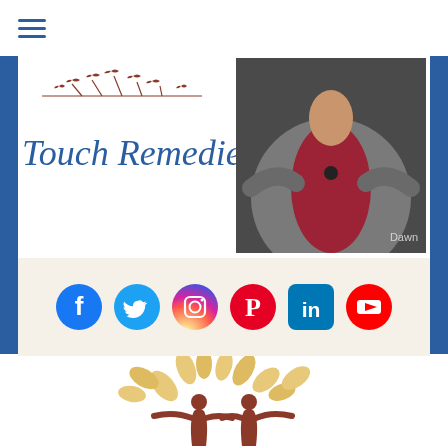[Figure (logo): Touch Remedies logo with decorative bird/tree branch marks above cursive text 'Touch Remedies' in blue]
[Figure (photo): Person wearing red top and grey shawl with a black pendant necklace and watch, partial torso view with text 'Dawn' visible]
[Figure (infographic): Six social media icons: Facebook (blue circle with f), Twitter (blue bird), Instagram (gradient camera), Pinterest (red circle with P), LinkedIn (blue square with in), YouTube (red play button)]
[Figure (illustration): Two human silhouette figures in brown/terracotta with arms outstretched, surrounded by golden/tan leaf shapes forming a tree canopy]